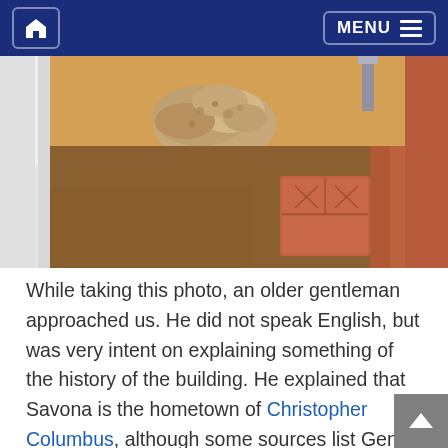Home | MENU
[Figure (photo): Archaeological excavation site showing sandy soil with ancient stone and terracotta tile fragments, viewed from above at an indoor museum display]
While taking this photo, an older gentleman approached us. He did not speak English, but was very intent on explaining something of the history of the building. He explained that Savona is the hometown of Christopher Columbus, although some sources list Genoa as his hometown. The man went on to show